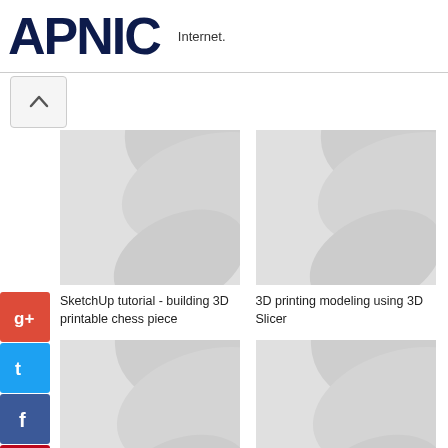[Figure (logo): APNIC logo in dark navy blue bold text]
Internet.
[Figure (screenshot): Scroll-up navigation button with chevron]
[Figure (screenshot): Social media sharing sidebar with Google+, Twitter, Facebook, Pinterest, StumbleUpon, Reddit, LinkedIn, and Bookmark icons]
[Figure (photo): Thumbnail placeholder image with diagonal swoosh pattern]
SketchUp tutorial - building 3D printable chess piece
[Figure (photo): Thumbnail placeholder image with diagonal swoosh pattern]
3D printing modeling using 3D Slicer
[Figure (photo): Thumbnail placeholder image with diagonal swoosh pattern]
3D Printed Hollow box with a hinge using Blender. Part 1.
[Figure (photo): Thumbnail placeholder image with diagonal swoosh pattern]
ZBrush Tutorial (Sculpting in ZBrush for 3D Printing) Chapter 2